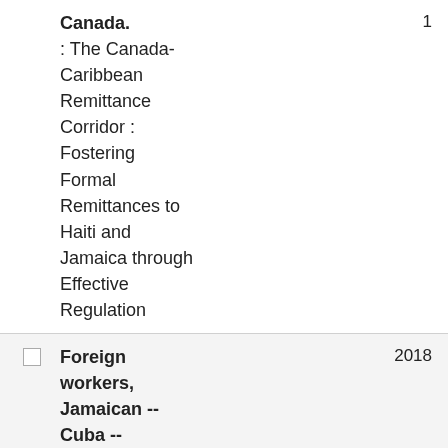Canada. : The Canada-Caribbean Remittance Corridor : Fostering Formal Remittances to Haiti and Jamaica through Effective Regulation
Foreign workers, Jamaican -- Cuba -- History